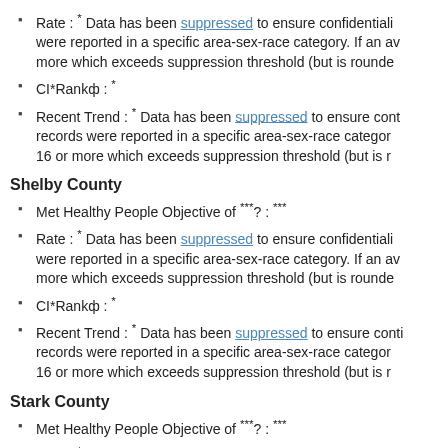Rate : * Data has been suppressed to ensure confidentiality were reported in a specific area-sex-race category. If an av more which exceeds suppression threshold (but is rounde
CI*Rankф : *
Recent Trend : * Data has been suppressed to ensure cont records were reported in a specific area-sex-race categor 16 or more which exceeds suppression threshold (but is r
Shelby County
Met Healthy People Objective of ***? : ***
Rate : * Data has been suppressed to ensure confidentiality were reported in a specific area-sex-race category. If an av more which exceeds suppression threshold (but is rounde
CI*Rankф : *
Recent Trend : * Data has been suppressed to ensure conti records were reported in a specific area-sex-race categor 16 or more which exceeds suppression threshold (but is r
Stark County
Met Healthy People Objective of ***? : ***
Rate : * Data has been suppressed to ensure confidentiality were reported in a specific area-sex-race category. If an